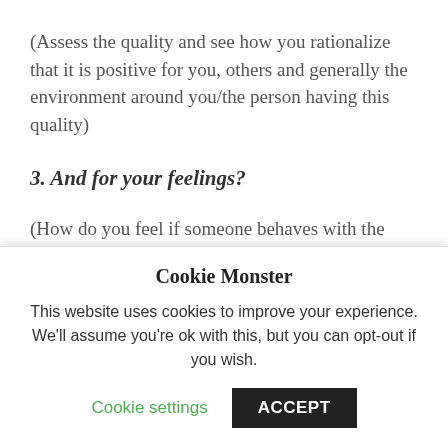(Assess the quality and see how you rationalize that it is positive for you, others and generally the environment around you/the person having this quality)
3. And for your feelings?
(How do you feel if someone behaves with the quality in a positive way? Or how does it make you feel if a person is not behaving according to this quality?)
4. Do you feel you have this quality?
Cookie Monster
This website uses cookies to improve your experience. We'll assume you're ok with this, but you can opt-out if you wish.
Cookie settings   ACCEPT